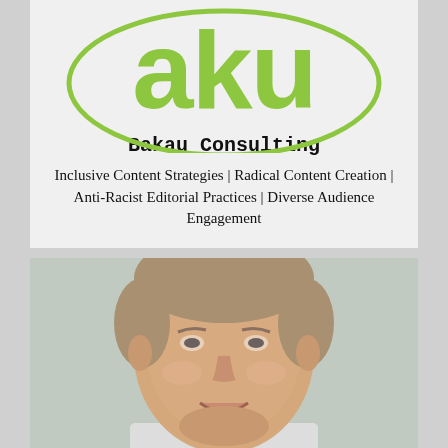[Figure (logo): Bakau Consulting logo — bright green 'aku' letters inside a green circle outline on a light gray background]
Bakau Consulting
Inclusive Content Strategies | Radical Content Creation | Anti-Racist Editorial Practices | Diverse Audience Engagement
[Figure (photo): Headshot photo of a middle-aged white man with short gray-brown hair, smiling, wearing a light-colored shirt, photographed against a light gray/green background]